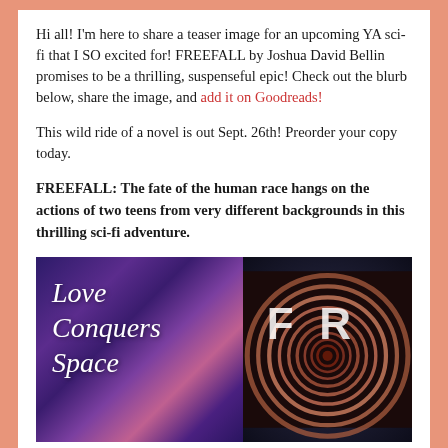Hi all! I'm here to share a teaser image for an upcoming YA sci-fi that I SO excited for! FREEFALL by Joshua David Bellin promises to be a thrilling, suspenseful epic! Check out the blurb below, share the image, and add it on Goodreads!
This wild ride of a novel is out Sept. 26th! Preorder your copy today.
FREEFALL: The fate of the human race hangs on the actions of two teens from very different backgrounds in this thrilling sci-fi adventure.
[Figure (illustration): Two-panel teaser image. Left panel shows a galaxy/space background in purple and pink hues with white italic text reading 'Love Conquers Space'. Right panel shows a dark book cover with concentric glowing circles and partial letters 'FR' visible.]